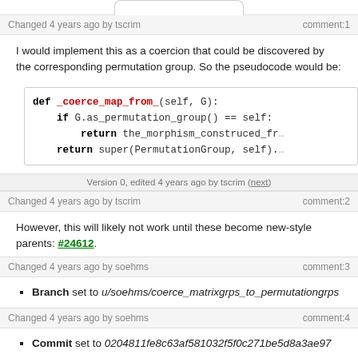Changed 4 years ago by tscrim   comment:1
I would implement this as a coercion that could be discovered by the corresponding permutation group. So the pseudocode would be:
[Figure (screenshot): Code block showing Python def _coerce_map_from_(self, G): if G.as_permutation_group() == self: return the_morphism_construced_fr... return super(PermutationGroup, self).]
Version 0, edited 4 years ago by tscrim (next)
Changed 4 years ago by tscrim   comment:2
However, this will likely not work until these become new-style parents: #24612.
Changed 4 years ago by soehms   comment:3
Branch set to u/soehms/coerce_matrixgrps_to_permutationgrps
Changed 4 years ago by soehms   comment:4
Commit set to 0204811fe8c63af581032f5f0c271be5d8a3ae97
Status changed from new to needs_review
New commits:
|  | Added   coerce_map_from_  to |
| --- | --- |